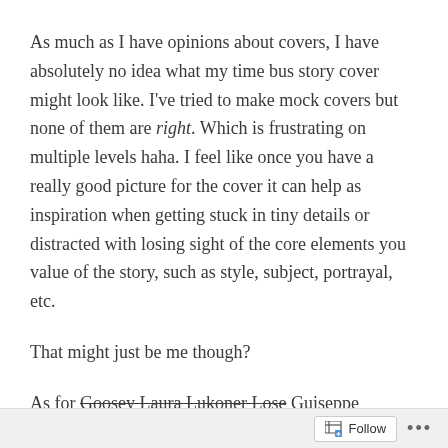As much as I have opinions about covers, I have absolutely no idea what my time bus story cover might look like. I've tried to make mock covers but none of them are right. Which is frustrating on multiple levels haha. I feel like once you have a really good picture for the cover it can help as inspiration when getting stuck in tiny details or distracted with losing sight of the core elements you value of the story, such as style, subject, portrayal, etc.
That might just be me though?
As for Goosey Laura Lukoner Lose Guiseppe
Follow